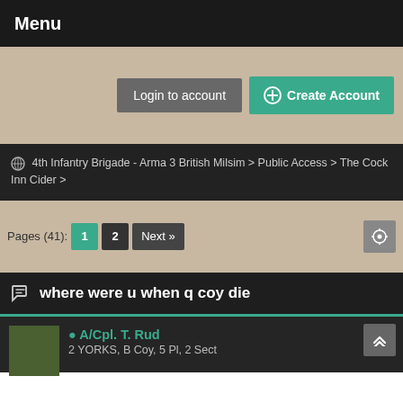Menu
Login to account   + Create Account
4th Infantry Brigade - Arma 3 British Milsim > Public Access > The Cock Inn Cider >
Pages (41): 1  2  Next »
where were u when q coy die
A/Cpl. T. Rud
2 YORKS, B Coy, 5 Pl, 2 Sect